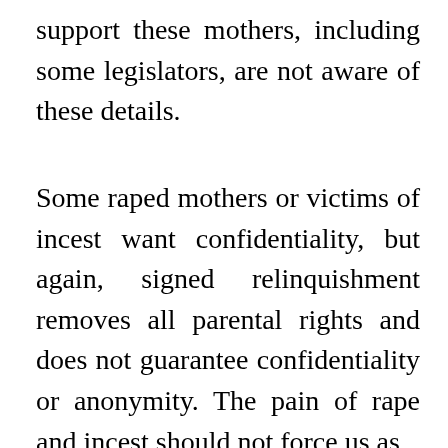support these mothers, including some legislators, are not aware of these details.
Some raped mothers or victims of incest want confidentiality, but again, signed relinquishment removes all parental rights and does not guarantee confidentiality or anonymity. The pain of rape and incest should not force us as